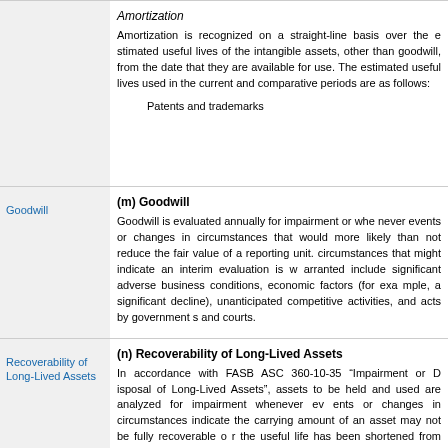Amortization
Amortization is recognized on a straight-line basis over the estimated useful lives of the intangible assets, other than goodwill, from the date that they are available for use. The estimated useful lives used in the current and comparative periods are as follows:
Patents and trademarks
(m) Goodwill
Goodwill is evaluated annually for impairment or whenever events or changes in circumstances that would more likely than not reduce the fair value of a reporting unit. Circumstances that might indicate an interim evaluation is warranted include significant adverse business conditions, economic factors (for example, a significant decline), unanticipated competitive activities, and acts by governments and courts.
(n) Recoverability of Long-Lived Assets
In accordance with FASB ASC 360-10-35 “Impairment or Disposal of Long-Lived Assets”, assets to be held and used are analyzed for impairment whenever events or changes in circumstances indicate the carrying amount of an asset may not be fully recoverable or the useful life has been shortened from what is appropriate. The Company evaluates at each balance sheet date whether events and circumstances have occurred that indicate possible impairment.
The Company determines the existence of such impairment by measuring the expected future cash flows (undiscounted and without interest charges) and comparing such amount to the net asset carrying value.